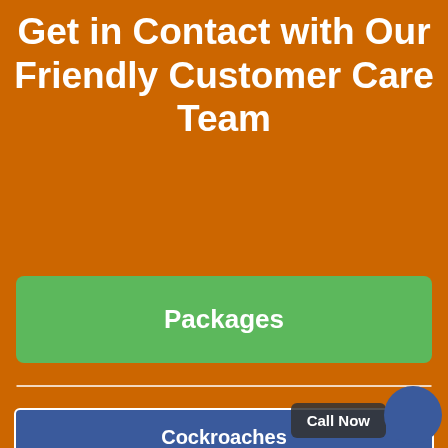Get in Contact with Our Friendly Customer Care Team
Packages
Cockroaches
Bed Bugs
Termites
Call Now